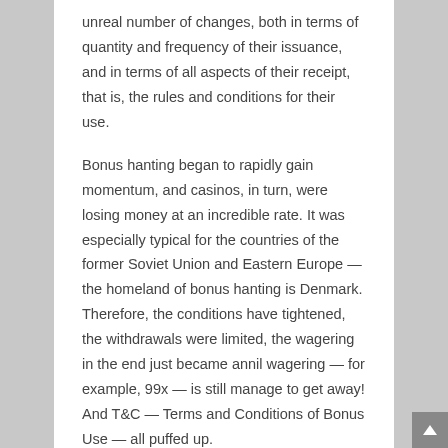unreal number of changes, both in terms of quantity and frequency of their issuance, and in terms of all aspects of their receipt, that is, the rules and conditions for their use.
Bonus hanting began to rapidly gain momentum, and casinos, in turn, were losing money at an incredible rate. It was especially typical for the countries of the former Soviet Union and Eastern Europe — the homeland of bonus hanting is Denmark. Therefore, the conditions have tightened, the withdrawals were limited, the wagering in the end just became annil wagering — for example, 99x — is still manage to get away! And T&C — Terms and Conditions of Bonus Use — all puffed up.